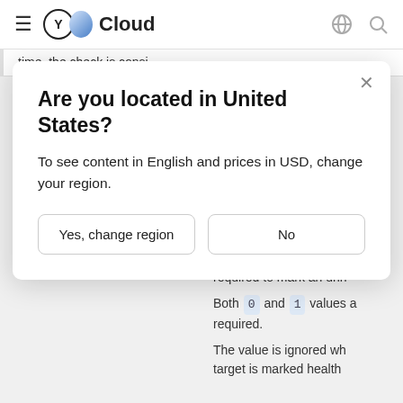≡  Y Cloud  🌐  🔍
time, the check is consi
Are you located in United States?
To see content in English and prices in USD, change your region.
Yes, change region   No
| Field | Description |
| --- | --- |
| http.healthchecks[].healthyThreshold | string (int64)
Number of consecutive required to mark an unh

Both 0 and 1 values a required.

The value is ignored wh target is marked health |